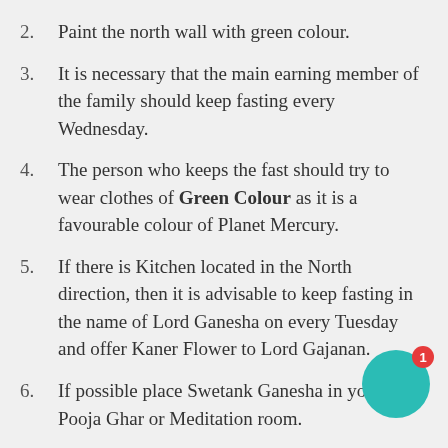2. Paint the north wall with green colour.
3. It is necessary that the main earning member of the family should keep fasting every Wednesday.
4. The person who keeps the fast should try to wear clothes of Green Colour as it is a favourable colour of Planet Mercury.
5. If there is Kitchen located in the North direction, then it is advisable to keep fasting in the name of Lord Ganesha on every Tuesday and offer Kaner Flower to Lord Gajanan.
6. If possible place Swetank Ganesha in your Pooja Ghar or Meditation room.